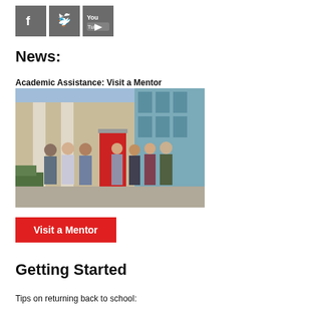[Figure (logo): Social media icons: Facebook, Twitter, YouTube]
News:
Academic Assistance: Visit a Mentor
[Figure (photo): Group photo of approximately 8 people standing outside a modern building with a red banner/sign]
Visit a Mentor
Getting Started
Tips on returning back to school: